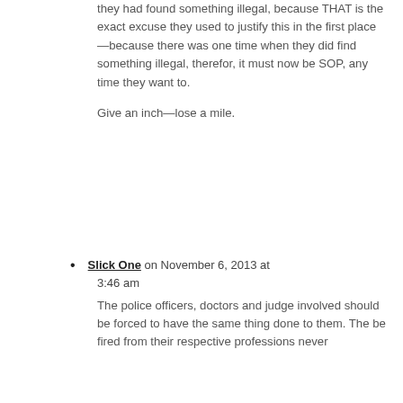they had found something illegal, because THAT is the exact excuse they used to justify this in the first place—because there was one time when they did find something illegal, therefor, it must now be SOP, any time they want to.
Give an inch—lose a mile.
Slick One on November 6, 2013 at 3:46 am
The police officers, doctors and judge involved should be forced to have the same thing done to them. The be fired from their respective professions never